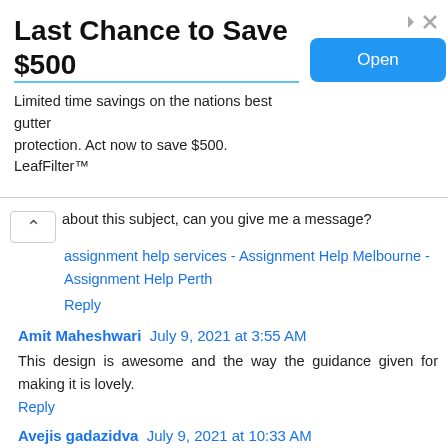[Figure (screenshot): Advertisement banner: 'Last Chance to Save $500' with subtitle 'Limited time savings on the nations best gutter protection. Act now to save $500. LeafFilter™' and a blue 'Open' button on the right.]
about this subject, can you give me a message? assignment help services - Assignment Help Melbourne - Assignment Help Perth
Reply
Amit Maheshwari July 9, 2021 at 3:55 AM
This design is awesome and the way the guidance given for making it is lovely.
Reply
Avejis gadazidva July 9, 2021 at 10:33 AM
his is very interesting content! avejis gadazidva njoyed reading your points and have come to the conclusion that you are right about many of them. You are great.